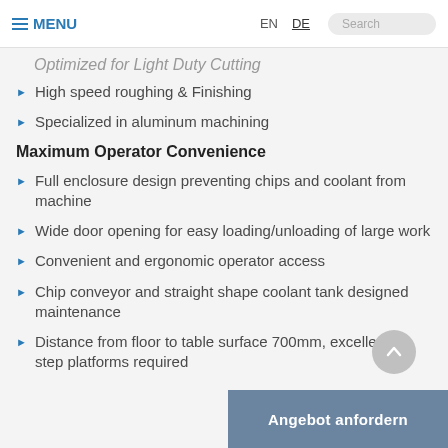≡ MENU   EN   DE   Search
Optimized for Light Duty Cutting
High speed roughing & Finishing
Specialized in aluminum machining
Maximum Operator Convenience
Full enclosure design preventing chips and coolant from machine
Wide door opening for easy loading/unloading of large work
Convenient and ergonomic operator access
Chip conveyor and straight shape coolant tank designed maintenance
Distance from floor to table surface 700mm, excellent a step platforms required